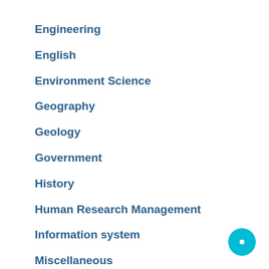Engineering
English
Environment Science
Geography
Geology
Government
History
Human Research Management
Information system
Miscellaneous
Spanish
Uncategorized